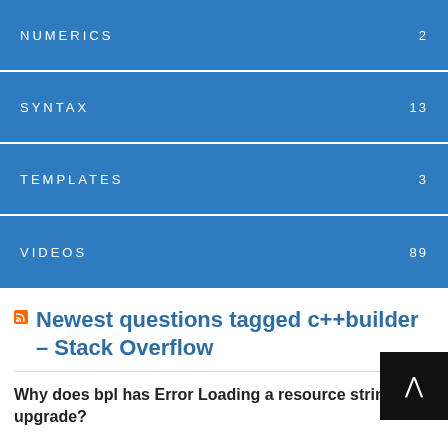NUMERICS 2
SYNTAX 13
TEMPLATES 3
VIDEOS 89
Newest questions tagged c++builder – Stack Overflow
Why does bpl has Error Loading a resource string after upgrade?